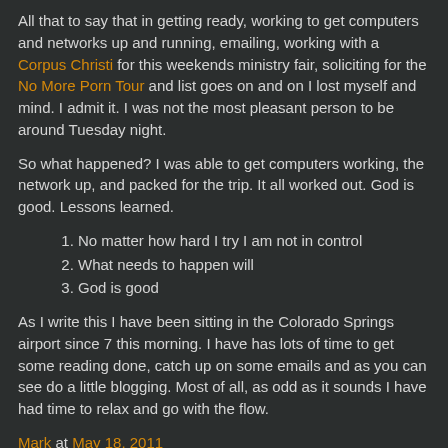All that to say that in getting ready, working to get computers and networks up and running, emailing, working with a Corpus Christi for this weekends ministry fair, soliciting for the No More Porn Tour and list goes on and on I lost myself and mind. I admit it. I was not the most pleasant person to be around Tuesday night.
So what happened? I was able to get computers working, the network up, and packed for the trip. It all worked out. God is good. Lessons learned.
No matter how hard I try I am not in control
What needs to happen will
God is good
As I write this I have been sitting in the Colorado Springs airport since 7 this morning. I have has lots of time to get some reading done, catch up on some emails and as you can see do a little blogging. Most of all, as odd as it sounds I have had time to relax and go with the flow.
Mark at May 18, 2011